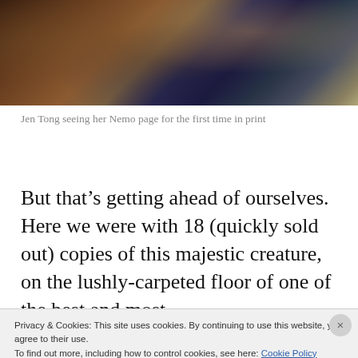[Figure (photo): Photo of Jen Tong looking at a printed page, seated at a table with colorful illustrated pages spread out, against a dark blue/purple background]
Jen Tong seeing her Nemo page for the first time in print
But that’s getting ahead of ourselves. Here we were with 18 (quickly sold out) copies of this majestic creature, on the lushly-carpeted floor of one of the best and most
Privacy & Cookies: This site uses cookies. By continuing to use this website, you agree to their use.
To find out more, including how to control cookies, see here: Cookie Policy